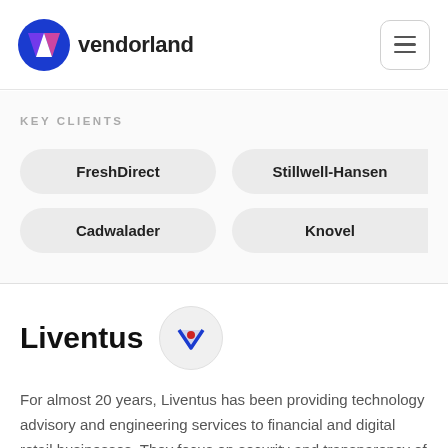vendorland
KEY CLIENTS
FreshDirect
Stillwell-Hansen
Cadwalader
Knovel
Liventus
For almost 20 years, Liventus has been providing technology advisory and engineering services to financial and digital retail businesses. They focus on security and transparency of cooperation, emphasizing secure coding practices and